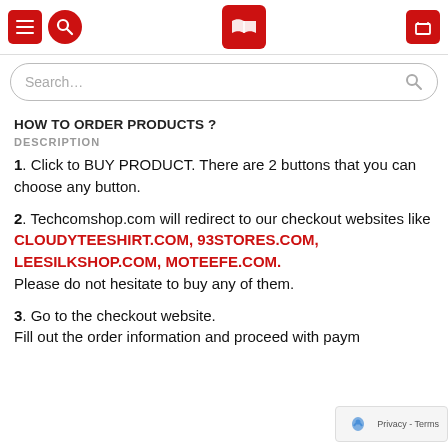Navigation header with menu, search, logo, and cart icons
Search…
HOW TO ORDER PRODUCTS ?
DESCRIPTION
1. Click to BUY PRODUCT. There are 2 buttons that you can choose any button.
2. Techcomshop.com will redirect to our checkout websites like CLOUDYTEESHIRT.COM, 93STORES.COM, LEESILKSHOP.COM, MOTEEFE.COM. Please do not hesitate to buy any of them.
3. Go to the checkout website. Fill out the order information and proceed with payment.